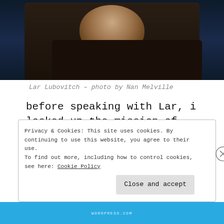[Figure (photo): Cropped photo of Lar Lubovitch, a man in a dark shirt, partially visible from the neck up, against a dark blue background.]
Lar Lubovitch – photo by Nan Melville
before speaking with Lar, i looked up the mission of Chicago Dancing Festival[CDF]: to present a wide
Privacy & Cookies: This site uses cookies. By continuing to use this website, you agree to their use.
To find out more, including how to control cookies, see here: Cookie Policy
Close and accept